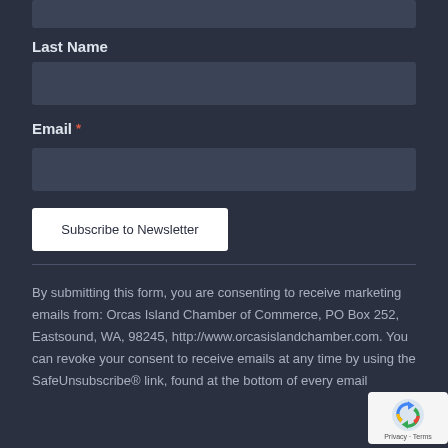[First Name input field — top, partially visible]
Last Name
[Last Name input field]
Email *
[Email input field]
Subscribe to Newsletter
By submitting this form, you are consenting to receive marketing emails from: Orcas Island Chamber of Commerce, PO Box 252, Eastsound, WA, 98245, http://www.orcasislandchamber.com. You can revoke your consent to receive emails at any time by using the SafeUnsubscribe® link, found at the bottom of every email